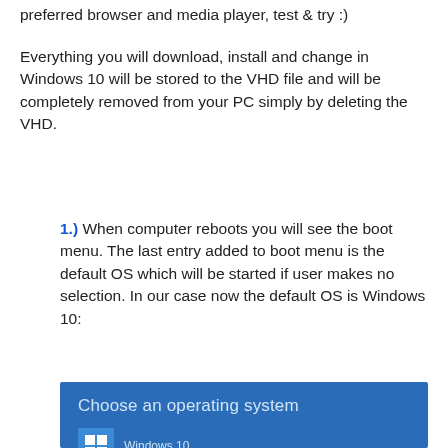preferred browser and media player, test & try :)
Everything you will download, install and change in Windows 10 will be stored to the VHD file and will be completely removed from your PC simply by deleting the VHD.
1.) When computer reboots you will see the boot menu. The last entry added to boot menu is the default OS which will be started if user makes no selection. In our case now the default OS is Windows 10:
[Figure (screenshot): Windows 10 boot menu screenshot showing 'Choose an operating system' title with Windows 10 entry listed below it on a blue background]